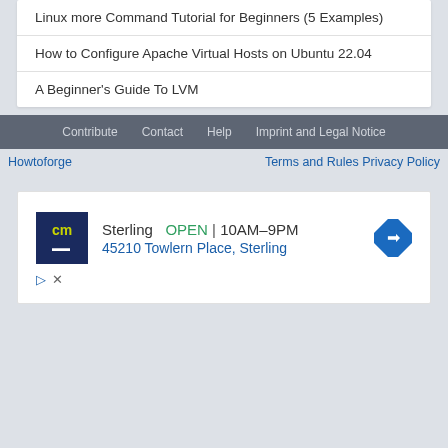Linux more Command Tutorial for Beginners (5 Examples)
How to Configure Apache Virtual Hosts on Ubuntu 22.04
A Beginner's Guide To LVM
Contribute  Contact  Help  Imprint and Legal Notice
Howtoforge    Terms and Rules  Privacy Policy
[Figure (screenshot): Advertisement for CM (Carroll Motors or similar) in Sterling, showing store open 10AM-9PM at 45210 Towlern Place, Sterling]